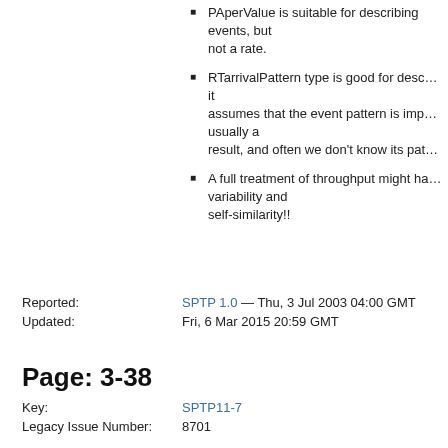PAperValue is suitable for describing events, but not a rate.
RTarrivalPattern type is good for describing it assumes that the event pattern is important, usually a result, and often we don't know its pattern.
A full treatment of throughput might have variability and self-similarity!!
Reported: SPTP 1.0 — Thu, 3 Jul 2003 04:00 GMT
Updated: Fri, 6 Mar 2015 20:59 GMT
Page: 3-38
Key: SPTP11-7
Legacy Issue Number: 8701